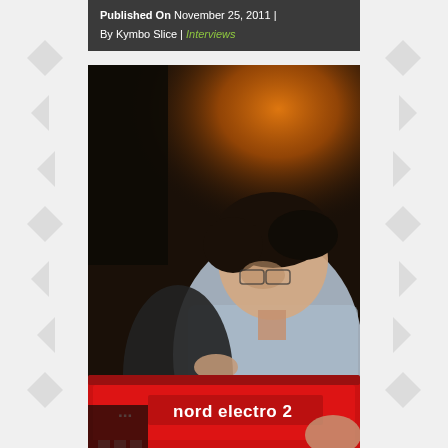Published On November 25, 2011 | By Kymbo Slice | Interviews
[Figure (photo): A person leaning over a red Nord Electro 2 keyboard/synthesizer in a dark venue setting with orange/warm light in background. Person has dark hair and is wearing a light blue striped shirt.]